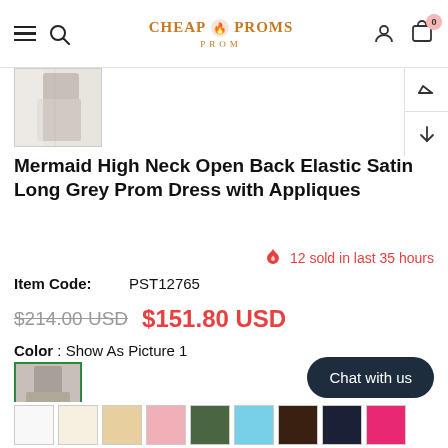CheapProms Prom — navigation bar with hamburger menu, search, logo, account, and cart (0)
[Figure (photo): Thumbnail of grey mermaid prom dress shown from back/side angle in bright studio setting]
Mermaid High Neck Open Back Elastic Satin Long Grey Prom Dress with Appliques
12 sold in last 35 hours
Item Code: PST12765
$214.00 USD  $151.80 USD
Color : Show As Picture 1
[Figure (photo): Selected color swatch showing grey mermaid dress (Show As Picture 1) with green checkmark]
[Figure (photo): Row of color swatches: white, ivory, champagne, pink, olive green, light blue, dark brown, dark navy, hot pink]